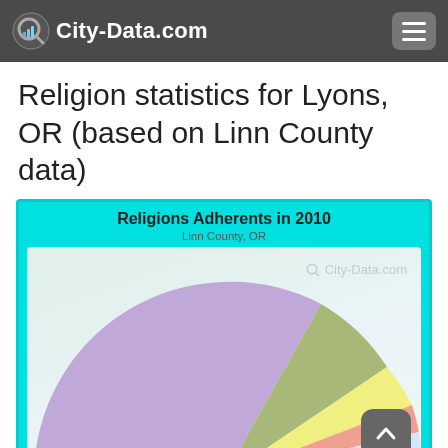City-Data.com
Religion statistics for Lyons, OR (based on Linn County data)
[Figure (pie-chart): Pie/donut-style half-circle chart showing religion adherents in Linn County, OR in 2010. The largest slice (purple/lavender) dominates the majority. Smaller slices include olive/green, yellow, pink/salmon, light blue, and blue segments.]